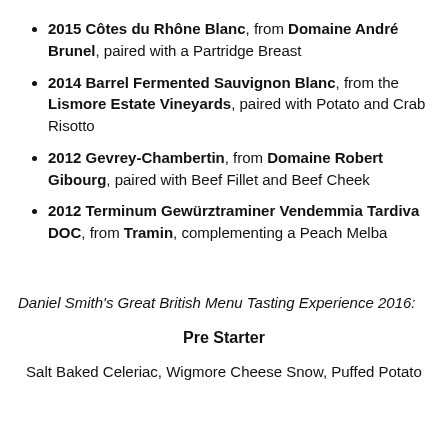2015 Côtes du Rhône Blanc, from Domaine André Brunel, paired with a Partridge Breast
2014 Barrel Fermented Sauvignon Blanc, from the Lismore Estate Vineyards, paired with Potato and Crab Risotto
2012 Gevrey-Chambertin, from Domaine Robert Gibourg, paired with Beef Fillet and Beef Cheek
2012 Terminum Gewürztraminer Vendemmia Tardiva DOC, from Tramin, complementing a Peach Melba
Daniel Smith's Great British Menu Tasting Experience 2016:
Pre Starter
Salt Baked Celeriac, Wigmore Cheese Snow, Puffed Potato